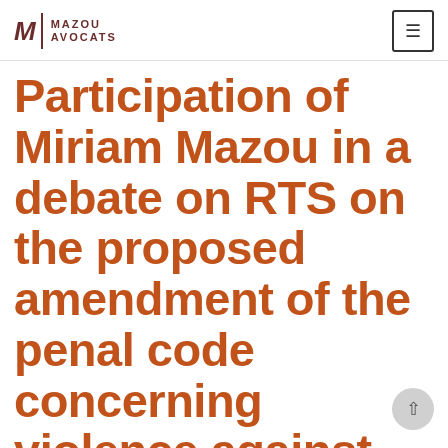MAZOU AVOCATS
Participation of Miriam Mazou in a debate on RTS on the proposed amendment of the penal code concerning violence against the police